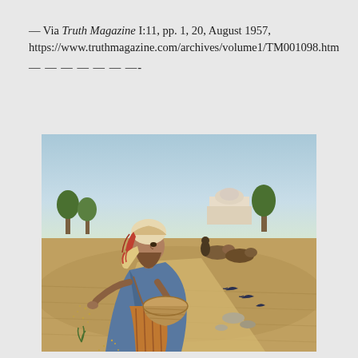— Via Truth Magazine I:11, pp. 1, 20, August 1957, https://www.truthmagazine.com/archives/volume1/TM001098.htm
— — — — — — —-
[Figure (illustration): A biblical-era illustration of a sower scattering seeds from a woven basket, dressed in blue robes and a wrapped head covering with red-striped cloth, walking across a sandy field. In the background, a man plows with oxen, birds pick at seeds on the ground, and a white building with trees is visible in the distance.]